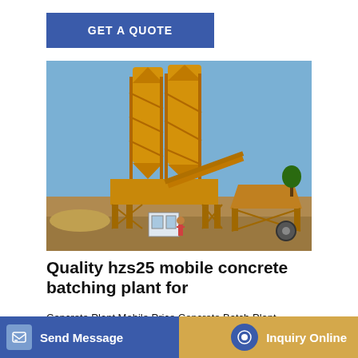GET A QUOTE
[Figure (photo): Yellow mobile concrete batching plant with two tall cylindrical silos, conveyor belt, and aggregate bin, set outdoors on a construction site under a clear blue sky.]
Quality hzs25 mobile concrete batching plant for
Concrete Plant Mobile Price Concrete Batch Plant SDDOM
y Price ale. $8
Send Message
Inquiry Online